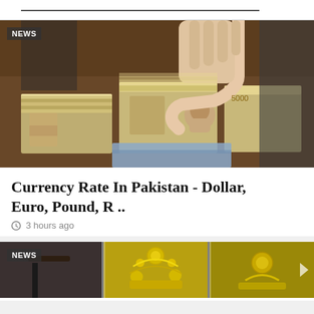[Figure (photo): A hand counting stacks of Pakistani rupee banknotes on a wooden table, with NEWS badge overlay]
Currency Rate In Pakistan - Dollar, Euro, Pound, R ..
3 hours ago
[Figure (photo): Gold jewelry items including ornate pieces, with NEWS badge overlay — partially visible at bottom of page]